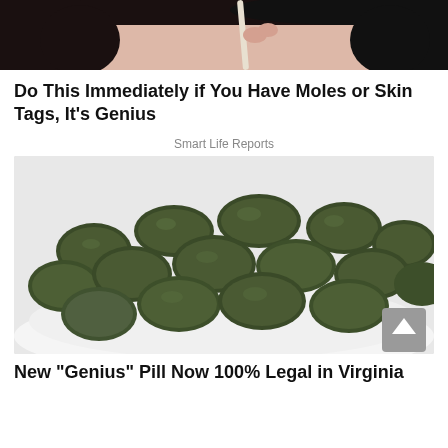[Figure (photo): Top portion of a woman's face with dark hair, partially cropped, holding what appears to be a white stick or pencil near her face]
Do This Immediately if You Have Moles or Skin Tags, It's Genius
Smart Life Reports
[Figure (photo): A pile of dark green oval/round tablets or pills (resembling spirulina or chlorella supplements) on a white plate]
New "Genius" Pill Now 100% Legal in Virginia